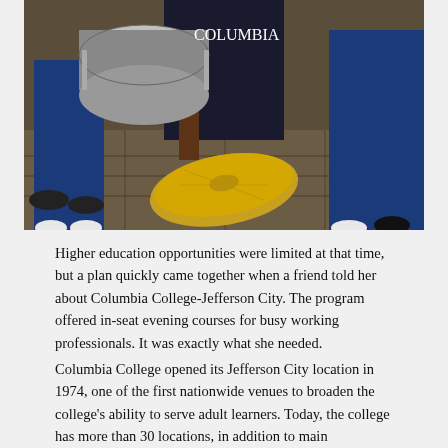[Figure (photo): Band members in blue uniforms holding percussion instruments including a snare drum and large cymbals, photographed indoors on a stone floor.]
Higher education opportunities were limited at that time, but a plan quickly came together when a friend told her about Columbia College-Jefferson City. The program offered in-seat evening courses for busy working professionals. It was exactly what she needed.
Columbia College opened its Jefferson City location in 1974, one of the first nationwide venues to broaden the college's ability to serve adult learners. Today, the college has more than 30 locations, in addition to main campus along with online College Z...